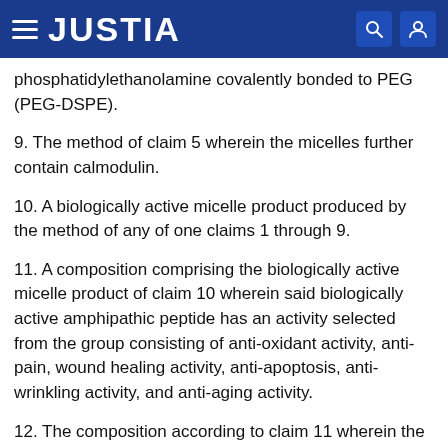JUSTIA
phosphatidylethanolamine covalently bonded to PEG (PEG-DSPE).
9. The method of claim 5 wherein the micelles further contain calmodulin.
10. A biologically active micelle product produced by the method of any of one claims 1 through 9.
11. A composition comprising the biologically active micelle product of claim 10 wherein said biologically active amphipathic peptide has an activity selected from the group consisting of anti-oxidant activity, anti-pain, wound healing activity, anti-apoptosis, anti-wrinkling activity, and anti-aging activity.
12. The composition according to claim 11 wherein the composition is a cosmetic.